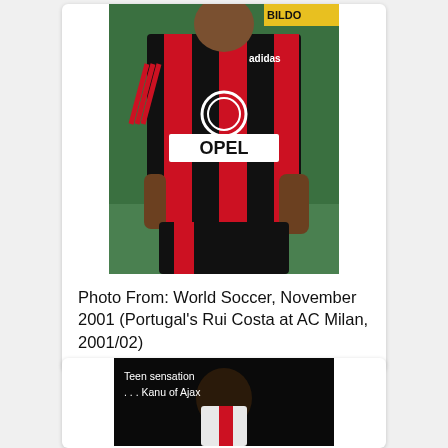[Figure (photo): Photo of Rui Costa in AC Milan red and black striped jersey with OPEL sponsor, standing on grass pitch]
Photo From: World Soccer, November 2001 (Portugal's Rui Costa at AC Milan, 2001/02)
[Figure (photo): Black and white photo of Kanu of Ajax, with text overlay reading 'Teen sensation ... Kanu of Ajax']